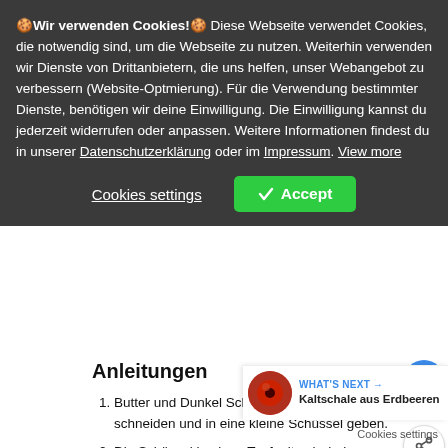🍪 Wir verwenden Cookies! 🍪 Diese Webseite verwendet Cookies, die notwendig sind, um die Webseite zu nutzen. Weiterhin verwenden wir Dienste von Drittanbietern, die uns helfen, unser Webangebot zu verbessern (Website-Optmierung). Für die Verwendung bestimmter Dienste, benötigen wir deine Einwilligung. Die Einwilligung kannst du jederzeit widerrufen oder anpassen. Weitere Informationen findest du in unserer Datenschutzerklärung oder im Impressum. View more
Cookies settings | ✓ Accept
Anleitungen
Butter und Dunkel Schokolade in grobe Stücke schneiden und in eine kleine Schüssel geben.
Die Schüssel in einen Topf mit sehr heißem Wasser geben. So können die Zutaten langsam schmelzen. Gelegentlich rühren bis Butter und Schokolade geschmolzen sind. Bei mitte...
WHAT'S NEXT → Kaltschale aus Erdbeeren
Cookies settings